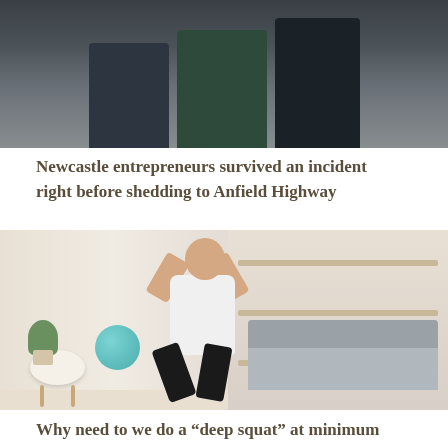[Figure (photo): Group of people standing together, wearing dark jackets, in an indoor setting]
Newcastle entrepreneurs survived an incident right before shedding to Anfield Highway
[Figure (photo): A young man in a white t-shirt and black shorts performing a deep squat in a home living room with a blue exercise ball and small table nearby]
Why need to we do a “deep squat” at minimum